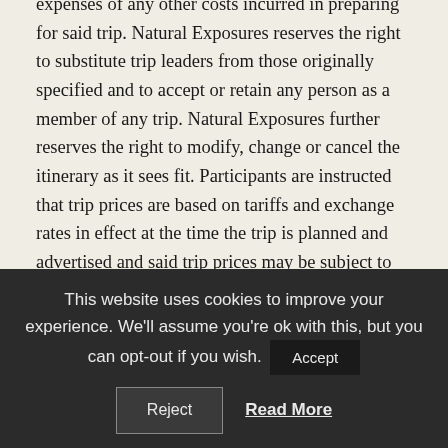expenses of any other costs incurred in preparing for said trip. Natural Exposures reserves the right to substitute trip leaders from those originally specified and to accept or retain any person as a member of any trip. Natural Exposures further reserves the right to modify, change or cancel the itinerary as it sees fit. Participants are instructed that trip prices are based on tariffs and exchange rates in effect at the time the trip is planned and advertised and said trip prices may be subject to adjustment in the event of any changes affecting price.
Natural Exposures, Inc and/or their agents are acting only as agents for the passenger with respect to travel, including, but not limited to sightseeing, meals, lodge transportation and all other services whether by railroad,
This website uses cookies to improve your experience. We'll assume you're ok with this, but you can opt-out if you wish. [Accept] [Reject] [Read More]